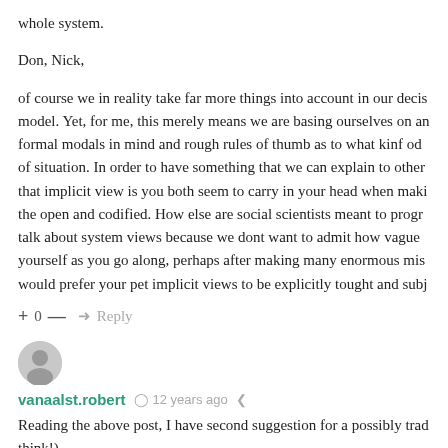whole system.
Don, Nick,
of course we in reality take far more things into account in our decis model. Yet, for me, this merely means we are basing ourselves on a formal modals in mind and rough rules of thumb as to what kinf od of situation. In order to have something that we can explain to other that implicit view is you both seem to carry in your head when maki the open and codified. How else are social scientists meant to progr talk about system views because we dont want to admit how vague yourself as you go along, perhaps after making many enormous mis would prefer your pet implicit views to be explicitly tought and subj
+ 0 — ➜ Reply
[Figure (illustration): Gray circular avatar icon for user vanaalst.robert]
vanaalst.robert  🕐 12 years ago  share
Reading the above post, I have second suggestion for a possibly trad think!).